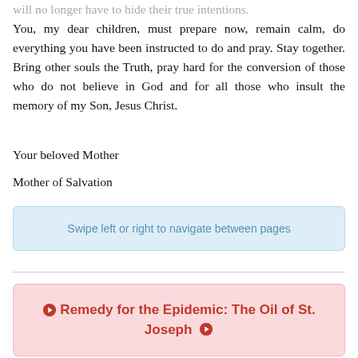will no longer have to hide their true intentions. You, my dear children, must prepare now, remain calm, do everything you have been instructed to do and pray. Stay together. Bring other souls the Truth, pray hard for the conversion of those who do not believe in God and for all those who insult the memory of my Son, Jesus Christ.
Your beloved Mother
Mother of Salvation
Swipe left or right to navigate between pages
Remedy for the Epidemic: The Oil of St. Joseph